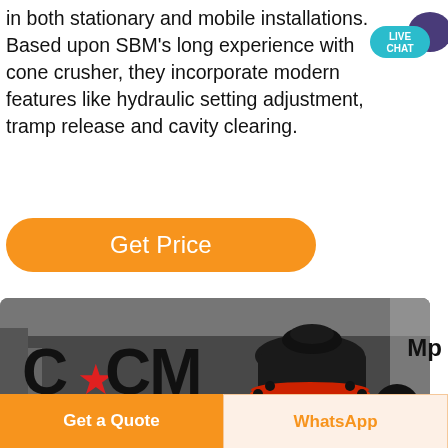in both stationary and mobile installations. Based upon SBM's long experience with cone crusher, they incorporate modern features like hydraulic setting adjustment, tramp release and cavity clearing.
[Figure (illustration): Live chat speech bubble icon in teal/blue with 'LIVE CHAT' text and a dark purple speech bubble behind it]
Get Price
[Figure (photo): Close-up photo of a cone crusher machine with black and red components, branded with 'CCM' text with a red star logo overlaid. 'Mp' text visible on the right side.]
Mp
Get a Quote
WhatsApp